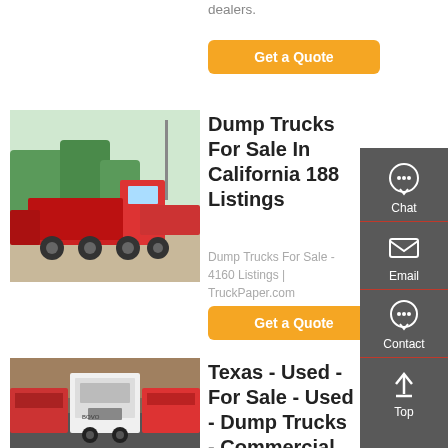dealers.
Get a Quote
[Figure (photo): Red dump trucks parked in a lot]
Dump Trucks For Sale In California 188 Listings
Dump Trucks For Sale - 4160 Listings | TruckPaper.com
Get a Quote
[Figure (photo): Row of commercial trucks viewed from behind]
Texas - Used - For Sale - Used - Dump Trucks - Commercial